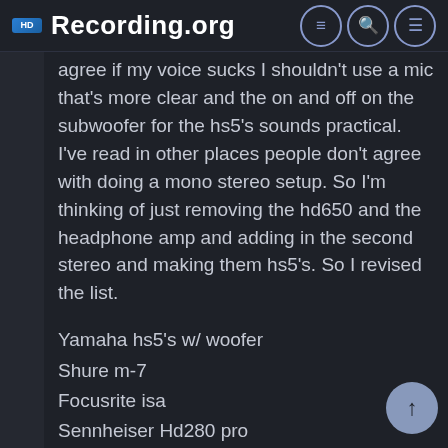Recording.org
agree if my voice sucks I shouldn't use a mic that's more clear and the on and off on the subwoofer for the hs5's sounds practical. I've read in other places people don't agree with doing a mono stereo setup. So I'm thinking of just removing the hd650 and the headphone amp and adding in the second stereo and making them hs5's. So I revised the list.
Yamaha hs5's w/ woofer
Shure m-7
Focusrite isa
Sennheiser Hd280 pro
Room treatment